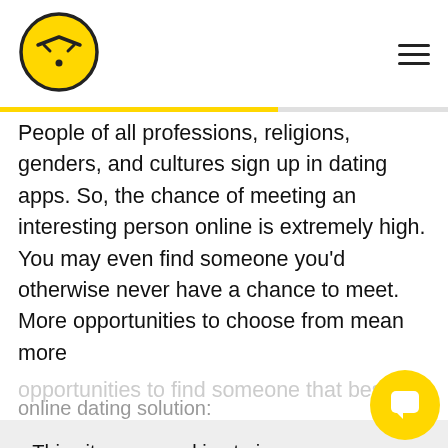[Figure (logo): Yellow circle logo with stylized angry/masked face icon in black lines]
People of all professions, religions, genders, and cultures sign up in dating apps. So, the chance of meeting an interesting person online is extremely high. You may even find someone you'd otherwise never have a chance to meet. More opportunities to choose from mean more
This site uses cookies to improve your user experience. If you continue to use our website, you consent to our Cookies Policy
Accept
online dating solution: